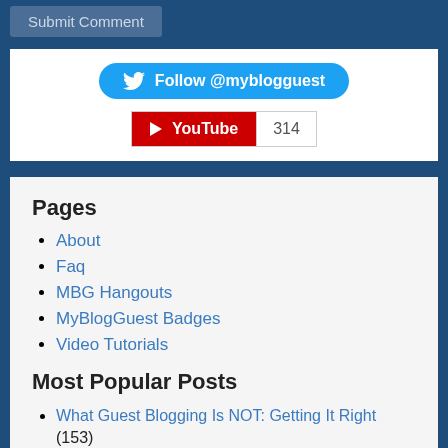Submit Comment
[Figure (other): Twitter Follow @myblogguest button]
[Figure (other): YouTube subscribe widget showing count 314]
Pages
About
Faq
MBG Hangouts
MyBlogGuest Badges
Video Tutorials
Most Popular Posts
What Guest Blogging Is NOT: Getting It Right (153)
Guest Blogging Wordpress Plugin from MyBlogGuest (145)
20+ Reasons Why You Need to Start Guest Blogging (105)